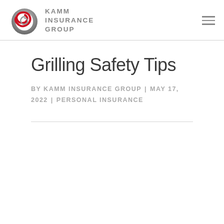KAMM INSURANCE GROUP
Grilling Safety Tips
BY KAMM INSURANCE GROUP | MAY 17, 2022 | PERSONAL INSURANCE